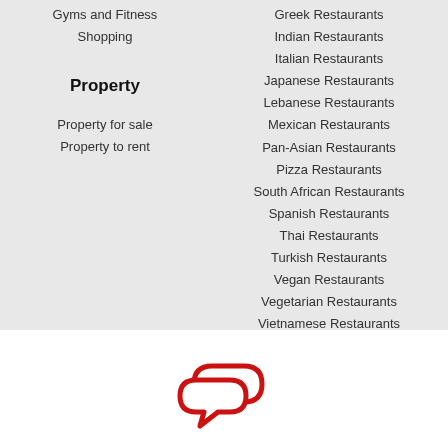Gyms and Fitness
Shopping
Property
Property for sale
Property to rent
Greek Restaurants
Indian Restaurants
Italian Restaurants
Japanese Restaurants
Lebanese Restaurants
Mexican Restaurants
Pan-Asian Restaurants
Pizza Restaurants
South African Restaurants
Spanish Restaurants
Thai Restaurants
Turkish Restaurants
Vegan Restaurants
Vegetarian Restaurants
Vietnamese Restaurants
[Figure (illustration): Red speech bubble / chat icon illustration]